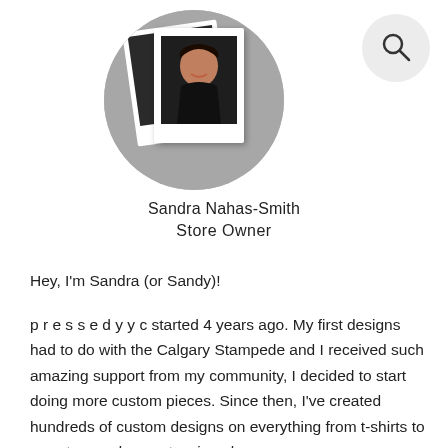[Figure (photo): Circular profile photo of Sandra Nahas-Smith holding polaroid photos, overlapping polaroid images visible]
[Figure (other): Search icon (magnifying glass) in a light gray circle, top right corner]
Sandra Nahas-Smith
Store Owner
Hey, I'm Sandra (or Sandy)!
p r e s s e d y y c started 4 years ago. My first designs had to do with the Calgary Stampede and I received such amazing support from my community, I decided to start doing more custom pieces. Since then, I've created hundreds of custom designs on everything from t-shirts to sweaters and mugs to wine glasses.
Thank you for stopping in. I can't wait to create a custom design